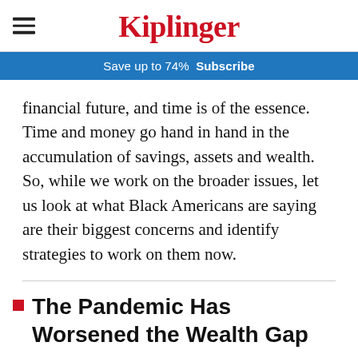Kiplinger
Save up to 74%  Subscribe
financial future, and time is of the essence. Time and money go hand in hand in the accumulation of savings, assets and wealth. So, while we work on the broader issues, let us look at what Black Americans are saying are their biggest concerns and identify strategies to work on them now.
The Pandemic Has Worsened the Wealth Gap